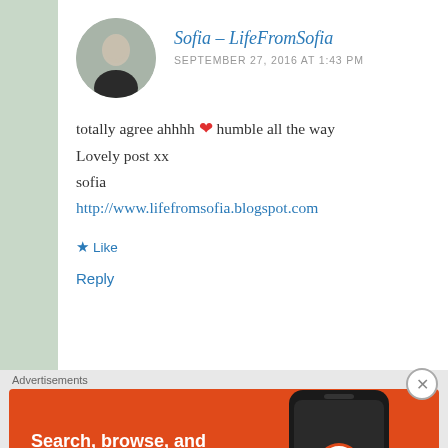Sofia - LifeFromSofia
SEPTEMBER 27, 2016 AT 1:43 PM
totally agree ahhhh ❤ humble all the way
Lovely post xx
sofia
http://www.lifefromsofia.blogspot.com
Like
Reply
Advertisements
[Figure (photo): DuckDuckGo advertisement banner: orange background with phone showing DuckDuckGo app. Text: Search, browse, and email with more privacy. All in One Free App. DuckDuckGo.]